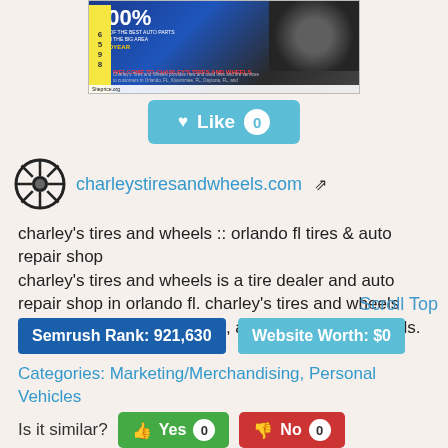[Figure (screenshot): Screenshot of Charley's Tires and Wheels website with blue background and tire imagery, siteprice.org watermark]
[Figure (other): Light blue Like button with heart icon and count badge showing 0]
charleystiresandwheels.com [external link icon]
charley's tires and wheels :: orlando fl tires & auto repair shop
charley's tires and wheels is a tire dealer and auto repair shop in orlando fl. charley's tires and wheels has deals on orlando fl tires, auto repairs and wheels.
Scroll Top
Semrush Rank: 921,630
Website Worth: $0
Categories: Marketing/Merchandising, Personal Vehicles
Is it similar?
Yes 0
No 0